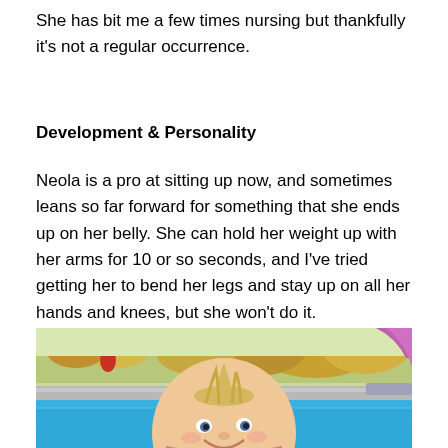She has bit me a few times nursing but thankfully it's not a regular occurrence.
Development & Personality
Neola is a pro at sitting up now, and sometimes leans so far forward for something that she ends up on her belly. She can hold her weight up with her arms for 10 or so seconds, and I've tried getting her to bend her legs and stay up on all her hands and knees, but she won't do it.
[Figure (photo): A baby with wispy blonde hair smiling near a blue swimming pool, with a backyard, lawn chair, and trees visible in the background, and a pink/purple water slide on the right.]